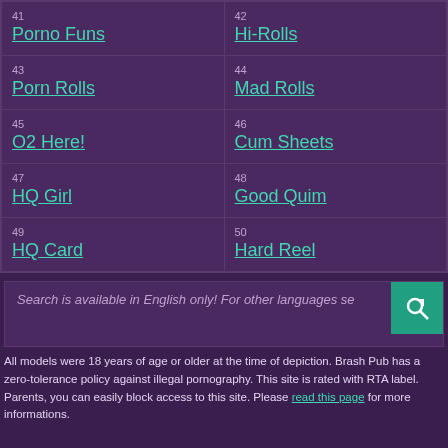| 41 Porno Funs | 42 Hi-Rolls |
| 43 Porn Rolls | 44 Mad Rolls |
| 45 O2 Here! | 46 Cum Sheets |
| 47 HQ Girl | 48 Good Quim |
| 49 HQ Card | 50 Hard Reel |
Search is available in English only! For other languages se
All models were 18 years of age or older at the time of depiction. Brash Pub has a zero-tolerance policy against illegal pornography. This site is rated with RTA label. Parents, you can easily block access to this site. Please read this page for more informations.